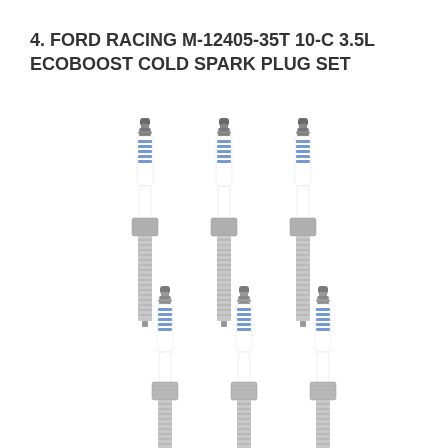4. FORD RACING M-12405-35T 10-C 3.5L ECOBOOST COLD SPARK PLUG SET
[Figure (photo): Six spark plugs arranged in two rows of three. Each plug has a ceramic white insulator body with blue horizontal stripe markings near the top, a hex metal base, and threaded metal shaft. The top row shows three plugs fully visible; the bottom row shows three plugs slightly cropped at the bottom.]